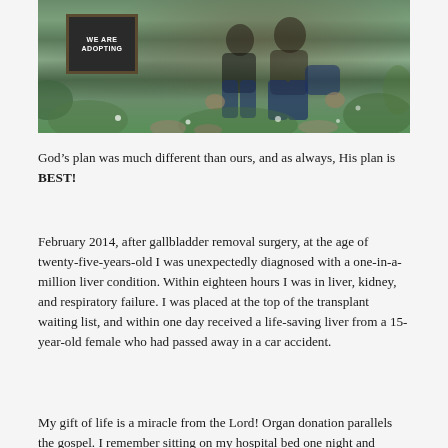[Figure (photo): A couple sitting outdoors in a garden/field setting with a chalkboard sign reading 'WE ARE ADOPTING'. The couple is dressed casually; surrounding vegetation and rocks are visible.]
God’s plan was much different than ours, and as always, His plan is BEST!
February 2014, after gallbladder removal surgery, at the age of twenty-five-years-old I was unexpectedly diagnosed with a one-in-a-million liver condition. Within eighteen hours I was in liver, kidney, and respiratory failure. I was placed at the top of the transplant waiting list, and within one day received a life-saving liver from a 15-year-old female who had passed away in a car accident.
My gift of life is a miracle from the Lord! Organ donation parallels the gospel. I remember sitting on my hospital bed one night and